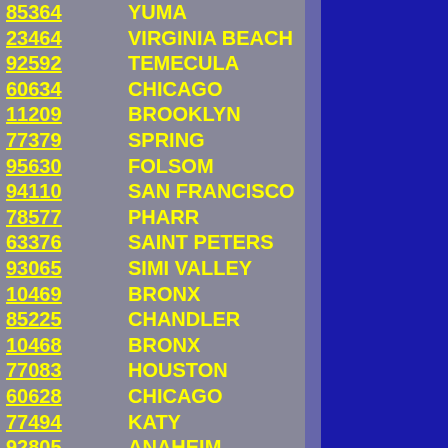| ZIP | CITY |
| --- | --- |
| 85364 | YUMA |
| 23464 | VIRGINIA BEACH |
| 92592 | TEMECULA |
| 60634 | CHICAGO |
| 11209 | BROOKLYN |
| 77379 | SPRING |
| 95630 | FOLSOM |
| 94110 | SAN FRANCISCO |
| 78577 | PHARR |
| 63376 | SAINT PETERS |
| 93065 | SIMI VALLEY |
| 10469 | BRONX |
| 85225 | CHANDLER |
| 10468 | BRONX |
| 77083 | HOUSTON |
| 60628 | CHICAGO |
| 77494 | KATY |
| 92805 | ANAHEIM |
| 91766 | POMONA |
| 91402 | PANORAMA CITY |